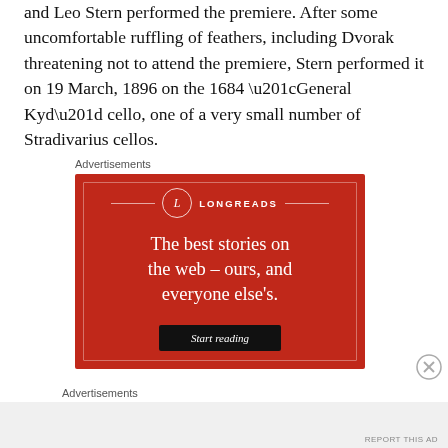and Leo Stern performed the premiere. After some uncomfortable ruffling of feathers, including Dvorak threatening not to attend the premiere, Stern performed it on 19 March, 1896 on the 1684 “General Kyd” cello, one of a very small number of Stradivarius cellos.
Advertisements
[Figure (illustration): Longreads advertisement banner with red background. Shows the Longreads logo (circle with L) and tagline 'The best stories on the web – ours, and everyone else’s.' with a 'Start reading' button.]
Advertisements